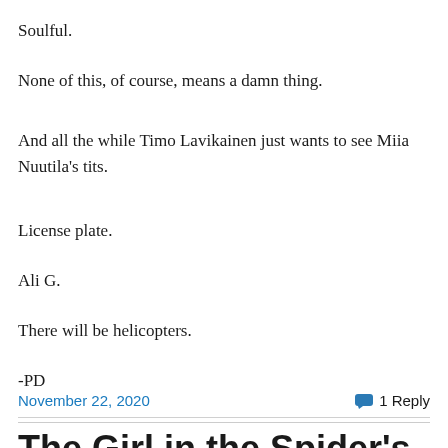Soulful.
None of this, of course, means a damn thing.
And all the while Timo Lavikainen just wants to see Miia Nuutila's tits.
License plate.
Ali G.
There will be helicopters.
-PD
November 22, 2020   1 Reply
The Girl in the Spider's Web